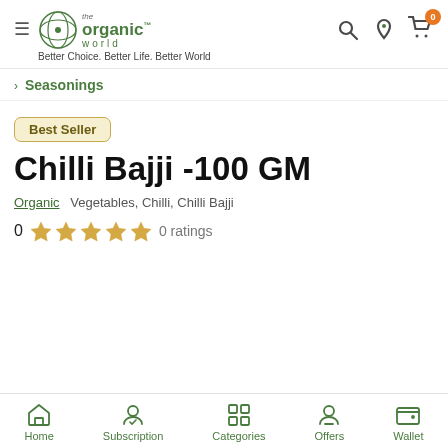the organic world™ — Better Choice. Better Life. Better World
> Seasonings
Best Seller
Chilli Bajji -100 GM
Organic   Vegetables, Chilli, Chilli Bajji
0  ★★★★★  0 ratings
Home  Subscription  Categories  Offers  Wallet